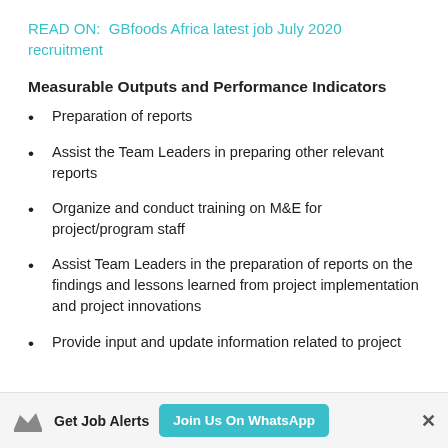READ ON:  GBfoods Africa latest job July 2020 recruitment
Measurable Outputs and Performance Indicators
Preparation of reports
Assist the Team Leaders in preparing other relevant reports
Organize and conduct training on M&E for project/program staff
Assist Team Leaders in the preparation of reports on the findings and lessons learned from project implementation and project innovations
Provide input and update information related to project
Get Job Alerts  Join Us On WhatsApp